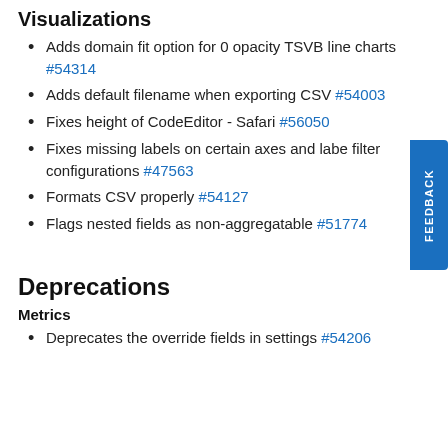Visualizations
Adds domain fit option for 0 opacity TSVB line charts #54314
Adds default filename when exporting CSV #54003
Fixes height of CodeEditor - Safari #56050
Fixes missing labels on certain axes and label filter configurations #47563
Formats CSV properly #54127
Flags nested fields as non-aggregatable #51774
Deprecations
Metrics
Deprecates the override fields in settings #54206